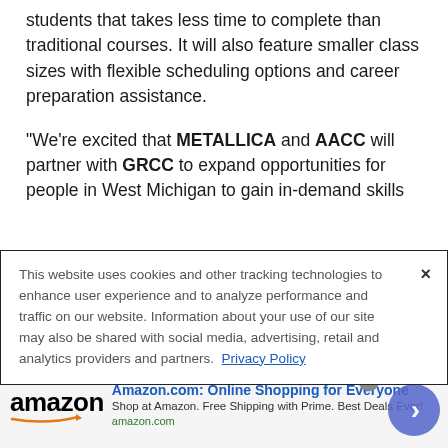students that takes less time to complete than traditional courses. It will also feature smaller class sizes with flexible scheduling options and career preparation assistance.
"We're excited that METALLICA and AACC will partner with GRCC to expand opportunities for people in West Michigan to gain in-demand skills
This website uses cookies and other tracking technologies to enhance user experience and to analyze performance and traffic on our website. Information about your use of our site may also be shared with social media, advertising, retail and analytics providers and partners. Privacy Policy
[Figure (screenshot): Amazon advertisement banner showing Amazon logo with arrow, headline 'Amazon.com: Online Shopping for Everyone', subtext 'Shop at Amazon. Free Shipping with Prime. Best Deals Ever!' and amazon.com domain label, with a blue circular arrow button on the right.]